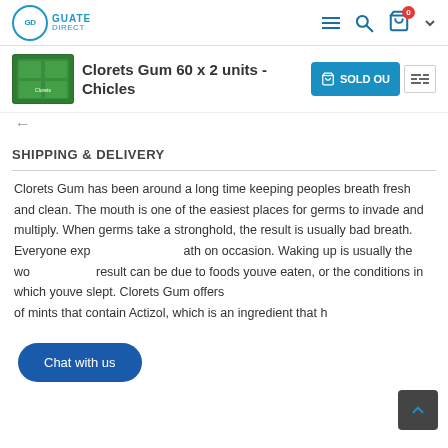GD GUATE DIRECT — navigation header with hamburger menu, search, and cart icons
Clorets Gum 60 x 2 units - Chicles
[Figure (photo): Product image: green box of Clorets Gum displayed in the product strip]
SOLD OUT
SHIPPING & DELIVERY
Clorets Gum has been around a long time keeping peoples breath fresh and clean. The mouth is one of the easiest places for germs to invade and multiply. When germs take a stronghold, the result is usually bad breath. Everyone experiences bad breath on occasion. Waking up is usually the worst, and the result can be due to foods youve eaten, or the conditions in which youve slept. Clorets Gum offers a variety of mints that contain Actizol, which is an ingredient that h